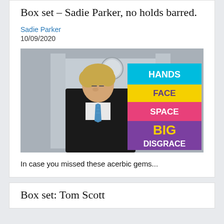Box set – Sadie Parker, no holds barred.
Sadie Parker
10/09/2020
[Figure (photo): Boris Johnson standing in front of a fireplace, looking downward, wearing a suit and blue tie. On the right side, a graphic overlay shows coloured bands reading: HANDS (cyan), FACE (yellow), SPACE (pink), BIG DISGRACE (purple) in bold text.]
In case you missed these acerbic gems...
Box set: Tom Scott